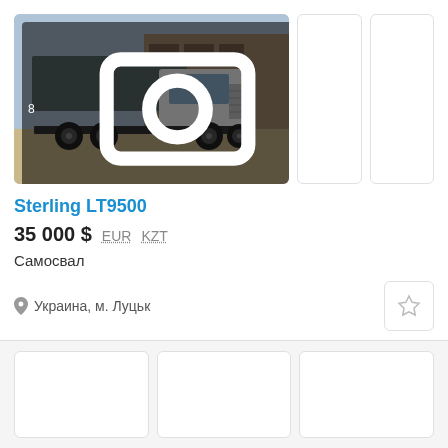[Figure (photo): White Sterling LT9500 dump truck parked in front of industrial building]
Sterling LT9500
35 000 $  EUR  KZT
Самосвал
Украина, м. Луцьк